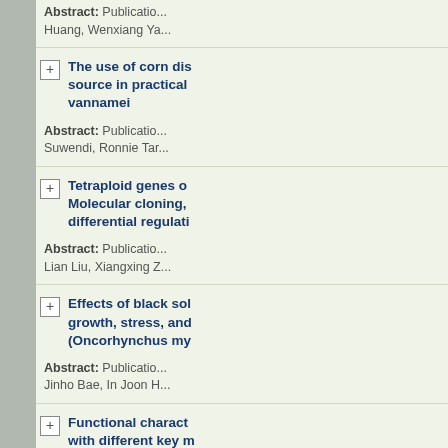Abstract: Publication... Huang, Wenxiang Ya...
The use of corn dis... source in practical... vannamei
Abstract: Publication... Suwendi, Ronnie Tar...
Tetraploid genes o... Molecular cloning,... differential regulati...
Abstract: Publication... Lian Liu, Xiangxing Z...
Effects of black sol... growth, stress, and... (Oncorhynchus my...
Abstract: Publication... Jinho Bae, In Joon H...
Functional charact... with different key m...
Abstract: Publication...